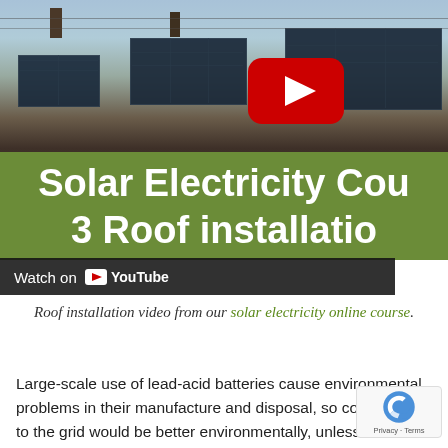[Figure (screenshot): YouTube video thumbnail showing solar panels on rooftops with a play button overlay. Green banner reads 'Solar Electricity Cou... 3 Roof installatio...' with a 'Watch on YouTube' bar at the bottom of the thumbnail.]
Roof installation video from our solar electricity online course.
Large-scale use of lead-acid batteries cause environmental problems in their manufacture and disposal, so connection to the grid would be better environmentally, unless in a remote location. Batteries do mean that you are autonomous though, and not subject to power cuts. The use